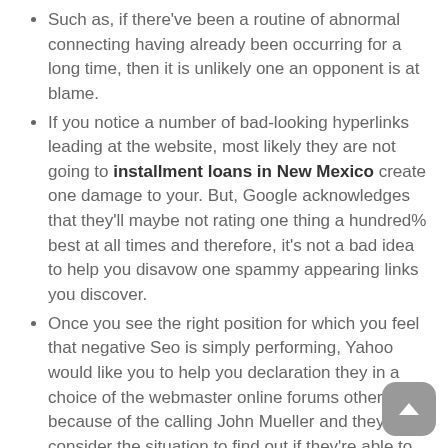Such as, if there've been a routine of abnormal connecting having already been occurring for a long time, then it is unlikely one an opponent is at blame.
If you notice a number of bad-looking hyperlinks leading at the website, most likely they are not going to installment loans in New Mexico create one damage to your. But, Google acknowledges that they'll maybe not rating one thing a hundred% best at all times and therefore, it's not a bad idea to help you disavow one spammy appearing links you discover.
Once you see the right position for which you feel that negative Seo is simply performing, Yahoo would like you to help you declaration they in a choice of the webmaster online forums otherwise because of the calling John Mueller and they'll consider the situation to find out if they're able to boost their algorithms.
Most of the cases where people declaration negative Search engine optimization periods in order to Yahoo